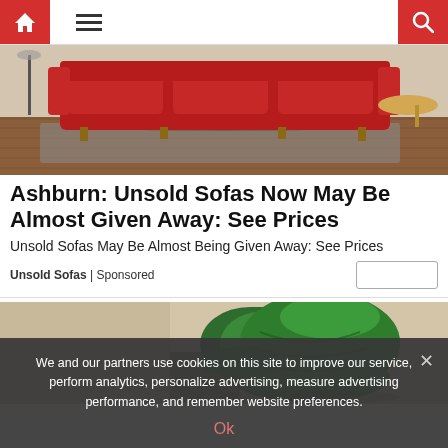Navigation bar with home, menu, and search icons
[Figure (photo): Red sofa on hardwood floor with rug, living room interior]
Ashburn: Unsold Sofas Now May Be Almost Given Away: See Prices
Unsold Sofas May Be Almost Being Given Away: See Prices
Unsold Sofas | Sponsored
[Figure (photo): Green leather recliner chair]
We and our partners use cookies on this site to improve our service, perform analytics, personalize advertising, measure advertising performance, and remember website preferences.
Ok